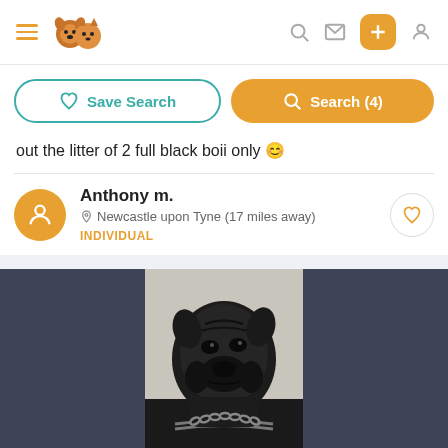App navigation bar with hamburger menu, logo, search, message, add, and profile icons
Save Search | Search (4)
out the litter of 2 full black boii only 😊
Anthony m. — Newcastle upon Tyne (17 miles away) — INDIVIDUAL
[Figure (photo): Black dog (Cane Corso type) looking sideways, wearing a chain collar, black and white photo against a light background, flanked by dark grey panels]